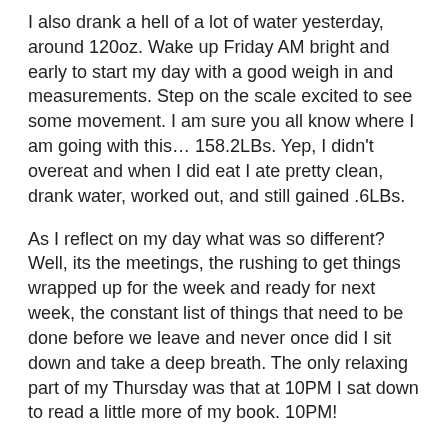I also drank a hell of a lot of water yesterday, around 120oz. Wake up Friday AM bright and early to start my day with a good weigh in and measurements. Step on the scale excited to see some movement. I am sure you all know where I am going with this... 158.2LBs. Yep, I didn't overeat and when I did eat I ate pretty clean, drank water, worked out, and still gained .6LBs.
As I reflect on my day what was so different? Well, its the meetings, the rushing to get things wrapped up for the week and ready for next week, the constant list of things that need to be done before we leave and never once did I sit down and take a deep breath. The only relaxing part of my Thursday was that at 10PM I sat down to read a little more of my book. 10PM!
I used to joke that I lost more weight when I was eating Taco Bell every weekend and going out drinking with my friends. But maybe it wasn't what I was putting into my body, but